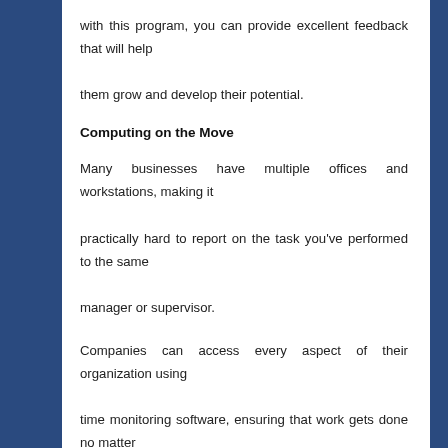with this program, you can provide excellent feedback that will help them grow and develop their potential.
Computing on the Move
Many businesses have multiple offices and workstations, making it practically hard to report on the task you've performed to the same manager or supervisor.
Companies can access every aspect of their organization using time monitoring software, ensuring that work gets done no matter where they are. The fact that time monitoring software does not limit to technological devices is one of its biggest advantages. One can use the application on nearly any device, including a cellphone, tablet, laptop, or desktop computer, as long as the